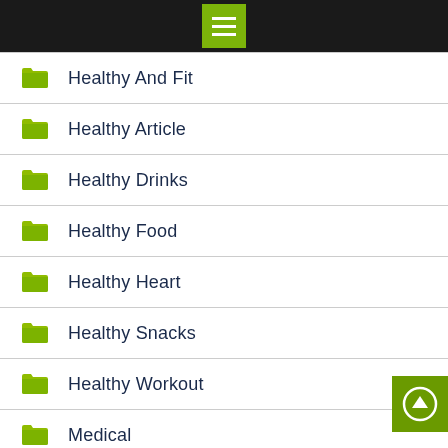[Figure (screenshot): Mobile app top navigation bar with green hamburger menu icon on black background]
Healthy And Fit
Healthy Article
Healthy Drinks
Healthy Food
Healthy Heart
Healthy Snacks
Healthy Workout
Medical
Medical News Today
Nutrition